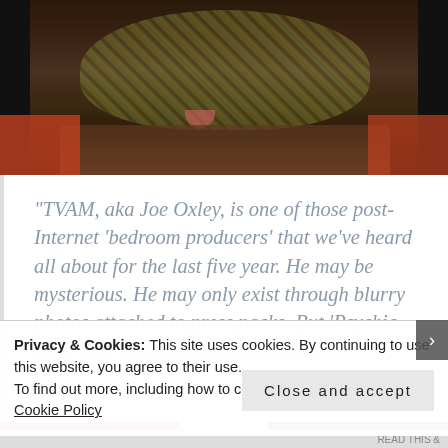[Figure (photo): Close-up photo of a person's face with colorful patterned/distorted appearance, dark background, partially visible]
“TVAM, aka Joe Oxley, is one of those post-Internet ‘bedroom producers’ that we’ve heard all about for the last five year. He may be mysterious. He may only exist through blurry photos attached to press packs. But ‘Psychic Data’, his debut record, is a proper
Privacy & Cookies: This site uses cookies. By continuing to use this website, you agree to their use.
To find out more, including how to control cookies, see here: Cookie Policy
Close and accept